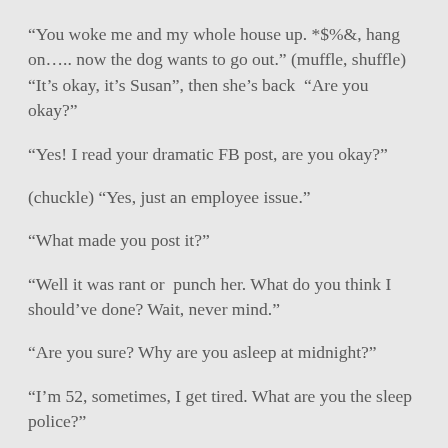“You woke me and my whole house up. *$%&, hang on….. now the dog wants to go out.” (muffle, shuffle) “It’s okay, it’s Susan”, then she’s back “Are you okay?”
“Yes! I read your dramatic FB post, are you okay?”
(chuckle) “Yes, just an employee issue.”
“What made you post it?”
“Well it was rant or  punch her. What do you think I should’ve done? Wait, never mind.”
“Are you sure? Why are you asleep at midnight?”
“I’m 52, sometimes, I get tired. What are you the sleep police?”